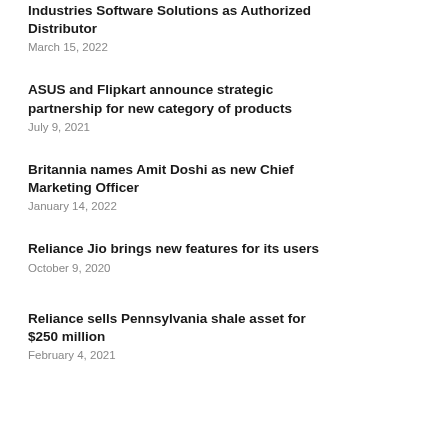Industries Software Solutions as Authorized Distributor
March 15, 2022
ASUS and Flipkart announce strategic partnership for new category of products
July 9, 2021
Britannia names Amit Doshi as new Chief Marketing Officer
January 14, 2022
Reliance Jio brings new features for its users
October 9, 2020
Reliance sells Pennsylvania shale asset for $250 million
February 4, 2021